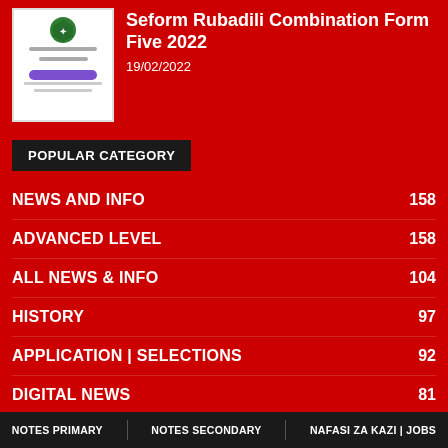[Figure (screenshot): Thumbnail screenshot of a webpage with a shield/crest logo, text lines, and a purple button bar]
Seform Rubadili Combination Form Five 2022
19/02/2022
POPULAR CATEGORY
NEWS AND INFO 158
ADVANCED LEVEL 158
ALL NEWS & INFO 104
HISTORY 97
APPLICATION | SELECTIONS 92
DIGITAL NEWS 81
BOOKS ANALYSIS 69
NOTES PRIMARY   NOTES SECONDARY   NAFASI ZA KAZI | JOBS